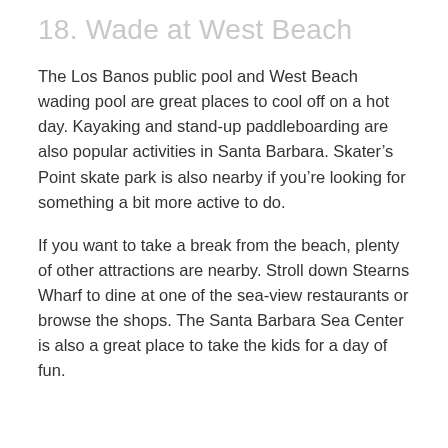18. Wade at West Beach
The Los Banos public pool and West Beach wading pool are great places to cool off on a hot day. Kayaking and stand-up paddleboarding are also popular activities in Santa Barbara. Skater’s Point skate park is also nearby if you’re looking for something a bit more active to do.
If you want to take a break from the beach, plenty of other attractions are nearby. Stroll down Stearns Wharf to dine at one of the sea-view restaurants or browse the shops. The Santa Barbara Sea Center is also a great place to take the kids for a day of fun.